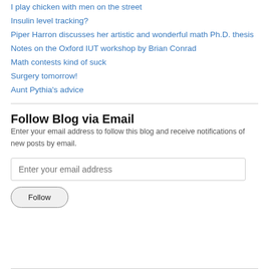I play chicken with men on the street
Insulin level tracking?
Piper Harron discusses her artistic and wonderful math Ph.D. thesis
Notes on the Oxford IUT workshop by Brian Conrad
Math contests kind of suck
Surgery tomorrow!
Aunt Pythia's advice
Follow Blog via Email
Enter your email address to follow this blog and receive notifications of new posts by email.